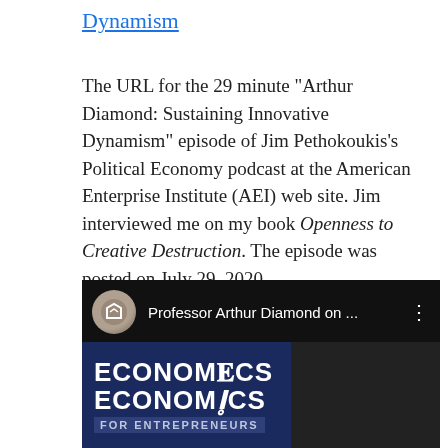Dynamism
The URL for the 29 minute "Arthur Diamond: Sustaining Innovative Dynamism" episode of Jim Pethokoukis's Political Economy podcast at the American Enterprise Institute (AEI) web site. Jim interviewed me on my book Openness to Creative Destruction. The episode was posted on July 29, 2020.
[Figure (screenshot): YouTube video thumbnail showing 'Professor Arthur Diamond on ...' with an avatar icon, three-dot menu, and an 'Economics for Entrepreneurs' badge on a dark background.]